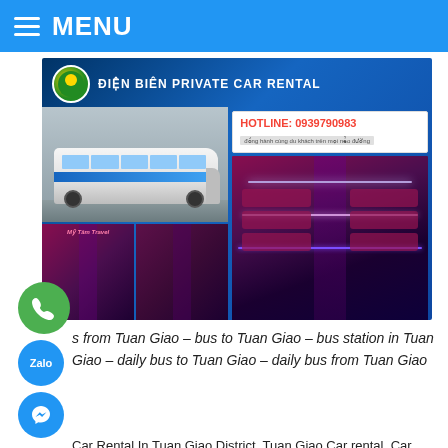MENU
[Figure (photo): Dien Bien Private Car Rental advertisement banner showing buses, vehicle interiors, company logo, and hotline 0939790983]
s from Tuan Giao – bus to Tuan Giao – bus station in Tuan Giao – daily bus to Tuan Giao – daily bus from Tuan Giao
Car Rental In Tuan Giao District, Tuan Giao Car rental, Car Transfer Tuan Giao, Car from Tuan Giao, Dien Bien